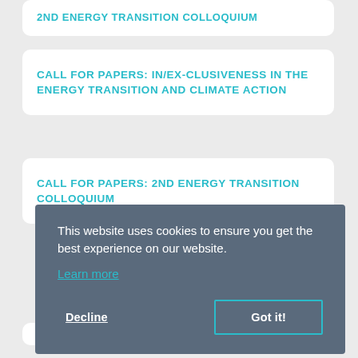2ND ENERGY TRANSITION COLLOQUIUM
CALL FOR PAPERS: IN/EX-CLUSIVENESS IN THE ENERGY TRANSITION AND CLIMATE ACTION
CALL FOR PAPERS: 2ND ENERGY TRANSITION COLLOQUIUM
This website uses cookies to ensure you get the best experience on our website.
Learn more
Decline
Got it!